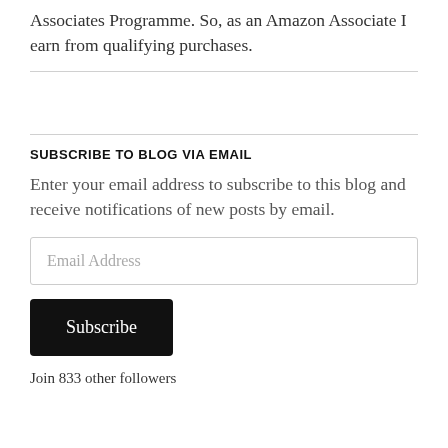Associates Programme. So, as an Amazon Associate I earn from qualifying purchases.
SUBSCRIBE TO BLOG VIA EMAIL
Enter your email address to subscribe to this blog and receive notifications of new posts by email.
Email Address
Subscribe
Join 833 other followers